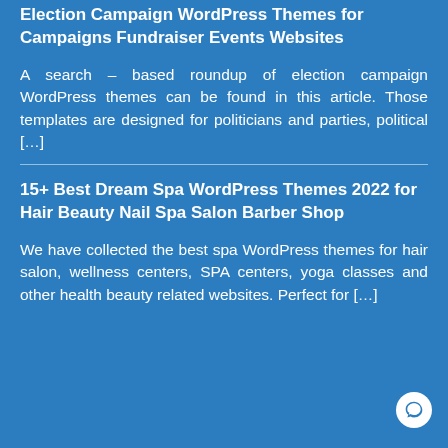Election Campaign WordPress Themes for Campaigns Fundraiser Events Websites
A search – based roundup of election campaign WordPress themes can be found in this article. Those templates are designed for politicians and parties, political […]
15+ Best Dream Spa WordPress Themes 2022 for Hair Beauty Nail Spa Salon Barber Shop
We have collected the best spa WordPress themes for hair salon, wellness centers, SPA centers, yoga classes and other health beauty related websites. Perfect for […]